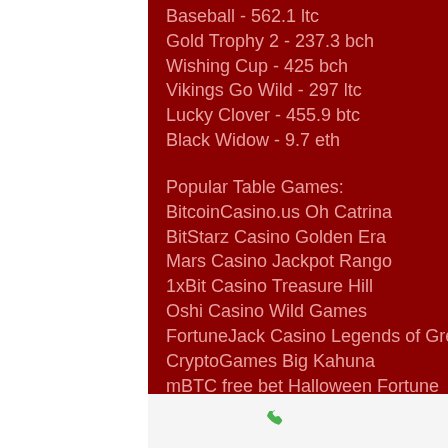Baseball - 562.1 ltc
Gold Trophy 2 - 237.3 bch
Wishing Cup - 425 bch
Vikings Go Wild - 297 ltc
Lucky Clover - 455.9 btc
Black Widow - 9.7 eth
Popular Table Games:
BitcoinCasino.us Oh Catrina
BitStarz Casino Golden Era
Mars Casino Jackpot Rango
1xBit Casino Treasure Hill
Oshi Casino Wild Games
FortuneJack Casino Legends of Greece
CryptoGames Big Kahuna
mBTC free bet Halloween Fortune
Oshi Casino Nutcracker
Vegas Crest Casino Queen Bee
1xSlots Casino Gobblers Gold
Phone | Email | Facebook